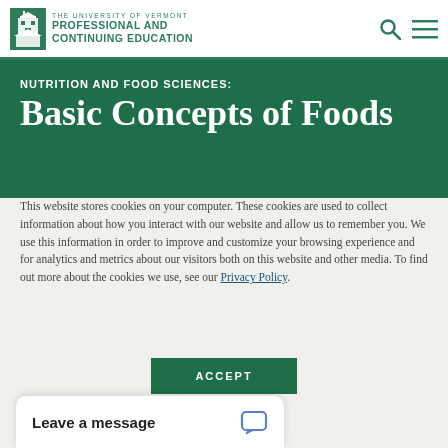THE UNIVERSITY OF VERMONT PROFESSIONAL AND CONTINUING EDUCATION
NUTRITION AND FOOD SCIENCES: Basic Concepts of Foods
This website stores cookies on your computer. These cookies are used to collect information about how you interact with our website and allow us to remember you. We use this information in order to improve and customize your browsing experience and for analytics and metrics about our visitors both on this website and other media. To find out more about the cookies we use, see our Privacy Policy.
ACCEPT
Leave a message